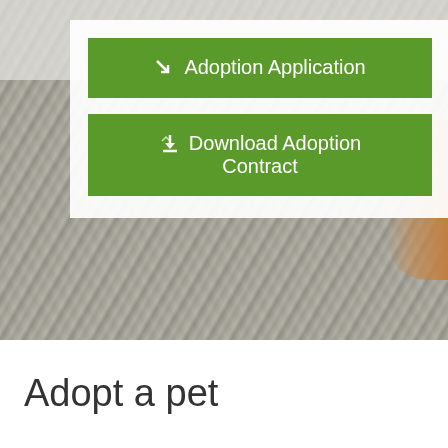[Figure (photo): Background photo of a woven carpet/rug in light gray tones, with a glimpse of an orange dog paw visible on the right side. A white semi-transparent card overlay contains two green buttons.]
Adoption Application
Download Adoption Contract
Adopt a pet